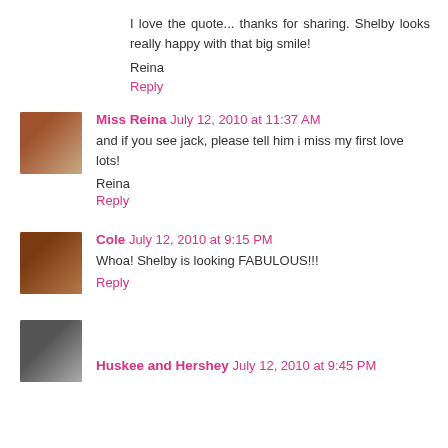I love the quote... thanks for sharing. Shelby looks really happy with that big smile!
Reina
Reply
Miss Reina  July 12, 2010 at 11:37 AM
and if you see jack, please tell him i miss my first love lots!
Reina
Reply
Cole  July 12, 2010 at 9:15 PM
Whoa! Shelby is looking FABULOUS!!!
Reply
Huskee and Hershey  July 12, 2010 at 9:45 PM